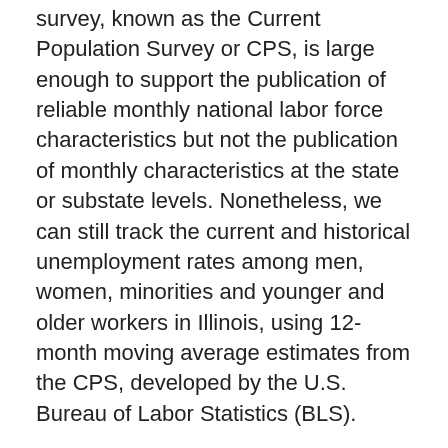survey, known as the Current Population Survey or CPS, is large enough to support the publication of reliable monthly national labor force characteristics but not the publication of monthly characteristics at the state or substate levels. Nonetheless, we can still track the current and historical unemployment rates among men, women, minorities and younger and older workers in Illinois, using 12-month moving average estimates from the CPS, developed by the U.S. Bureau of Labor Statistics (BLS).
We have highlighted below some key findings using 12-month moving average unemployment rates reported from 2007 through 2017. A report including the average unemployment rates shown in the charts below will be updated each month and found here. In addition, you can find a glossary of terms and concepts used in the CPS here.
Unemployment Rates by Gender